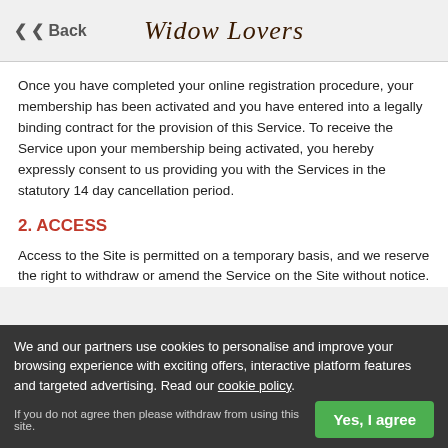Back | Widow Lovers
Once you have completed your online registration procedure, your membership has been activated and you have entered into a legally binding contract for the provision of this Service. To receive the Service upon your membership being activated, you hereby expressly consent to us providing you with the Services in the statutory 14 day cancellation period.
2. ACCESS
Access to the Site is permitted on a temporary basis, and we reserve the right to withdraw or amend the Service on the Site without notice.
We and our partners use cookies to personalise and improve your browsing experience with exciting offers, interactive platform features and targeted advertising. Read our cookie policy. If you do not agree then please withdraw from using this site.